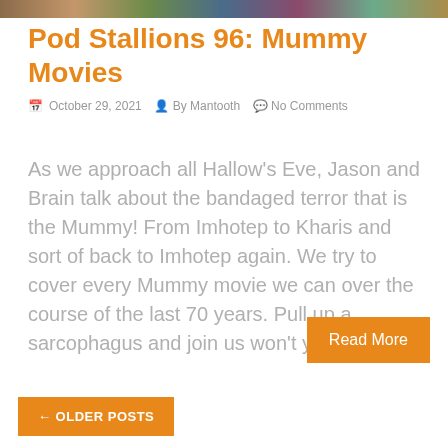[Figure (illustration): Colorful image strip banner at top of page]
Pod Stallions 96: Mummy Movies
October 29, 2021  By Mantooth  No Comments
As we approach all Hallow’s Eve, Jason and Brain talk about the bandaged terror that is the Mummy! From Imhotep to Kharis and sort of back to Imhotep again. We try to cover every Mummy movie we can over the course of the last 70 years. Pull up a sarcophagus and join us won’t you?
Read More
← OLDER POSTS